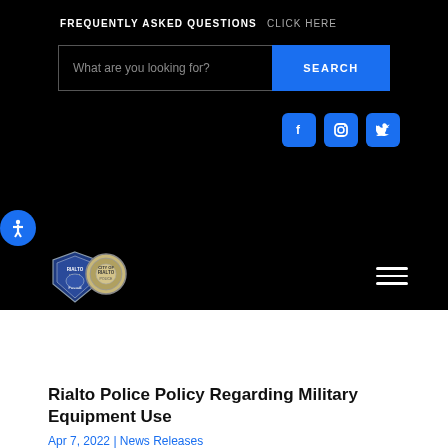FREQUENTLY ASKED QUESTIONS  CLICK HERE
What are you looking for?
[Figure (screenshot): Social media icons: Facebook, Instagram, Twitter on blue rounded-square buttons]
[Figure (logo): Rialto Police Department badge/shield logo]
Rialto Police Policy Regarding Military Equipment Use
Apr 7, 2022 | News Releases